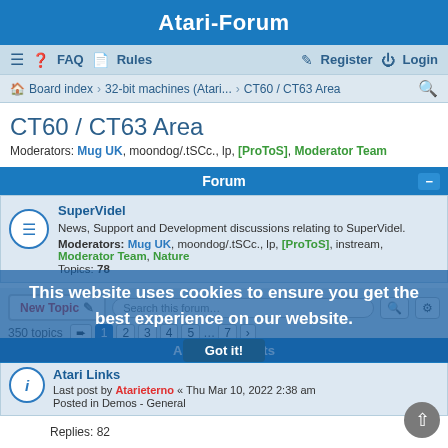Atari-Forum
≡  FAQ  Rules  Register  Login
Board index › 32-bit machines (Atari... › CT60 / CT63 Area
CT60 / CT63 Area
Moderators: Mug UK, moondog/.tSCc., lp, [ProToS], Moderator Team
Forum
SuperVidel
News, Support and Development discussions relating to SuperVidel.
Moderators: Mug UK, moondog/.tSCc., lp, [ProToS], instream, Moderator Team, Nature
Topics: 78
New Topic  Search this forum...
350 topics  1 2 3 4 5 ... 7 ›
This website uses cookies to ensure you get the best experience on our website.
Got it!
Announcements
Atari Links
Last post by Atarieterno « Thu Mar 10, 2022 2:38 am
Posted in Demos - General
Replies: 82